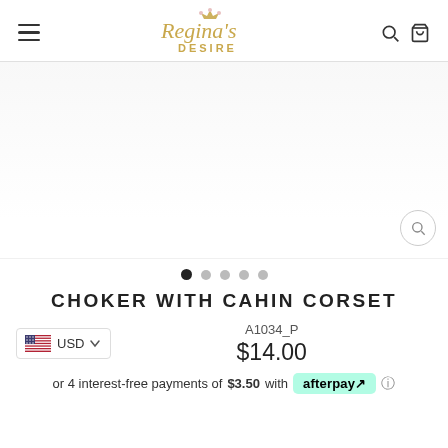Regina's Desire
[Figure (screenshot): Product image area for choker with cahin corset — mostly white/blank product photo placeholder]
[Figure (other): Image carousel dot indicators — 5 dots, first filled/active, rest gray]
CHOKER WITH CAHIN CORSET
A1034_P
$14.00
or 4 interest-free payments of $3.50 with afterpay